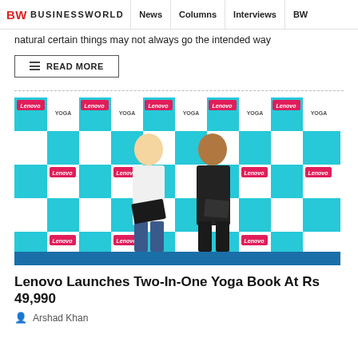BW BUSINESSWORLD | News | Columns | Interviews | BW
natural certain things may not always go the intended way
READ MORE
[Figure (photo): Two men standing in front of a Lenovo Yoga Book branded backdrop, one holding a laptop]
Lenovo Launches Two-In-One Yoga Book At Rs 49,990
Arshad Khan